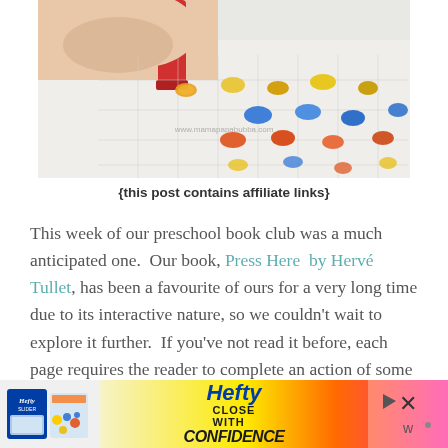[Figure (photo): Close-up photo of a child's hand using a red marker/stamp on a clear tray with colorful dots (blue, yellow, orange, red) arranged in a grid pattern. Watermark text reads www.mamapapabubba.com]
{this post contains affiliate links}
This week of our preschool book club was a much anticipated one. Our book, Press Here by Hervé Tullet, has been a favourite of ours for a very long time due to its interactive nature, so we couldn't wait to explore it further. If you've not read it before, each page requires the reader to complete an action of some sort before moving on to the next page to see what has happened to the dots {for example, 'five quick taps on the yellow dot' or [continues below ad]
[Figure (photo): Advertisement banner for Hefty Slider bags with 'CLOSE WITH CONFIDENCE' tagline. Shows Hefty Slider bag on left, Hefty logo with Close With Confidence text in center, and X close button on right.]